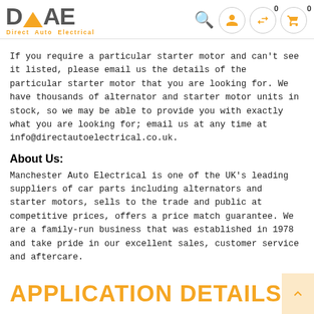DAE Direct Auto Electrical — navigation header with search and icons
If you require a particular starter motor and can't see it listed, please email us the details of the particular starter motor that you are looking for. We have thousands of alternator and starter motor units in stock, so we may be able to provide you with exactly what you are looking for; email us at any time at info@directautoelectrical.co.uk.
About Us:
Manchester Auto Electrical is one of the UK's leading suppliers of car parts including alternators and starter motors, sells to the trade and public at competitive prices, offers a price match guarantee. We are a family-run business that was established in 1978 and take pride in our excellent sales, customer service and aftercare.
APPLICATION DETAILS